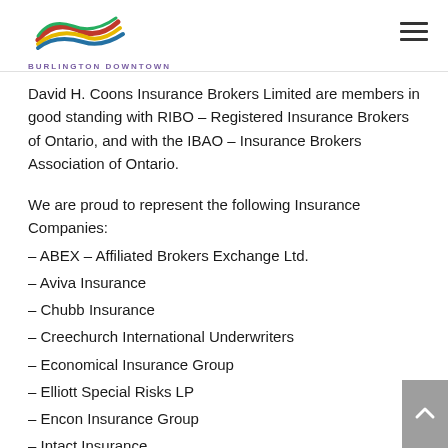BURLINGTON DOWNTOWN
David H. Coons Insurance Brokers Limited are members in good standing with RIBO – Registered Insurance Brokers of Ontario, and with the IBAO – Insurance Brokers Association of Ontario.
We are proud to represent the following Insurance Companies:
– ABEX – Affiliated Brokers Exchange Ltd.
– Aviva Insurance
– Chubb Insurance
– Creechurch International Underwriters
– Economical Insurance Group
– Elliott Special Risks LP
– Encon Insurance Group
– Intact Insurance